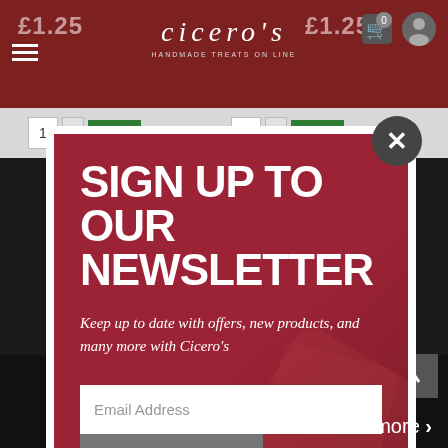[Figure (screenshot): Website background showing Cicero's online store with dark header, prices, add to cart buttons, and a newsletter signup modal overlay]
SIGN UP TO OUR NEWSLETTER
Keep up to date with offers, new products, and many more with Cicero's
Email Address
SUBSCRIBE
Find out more >